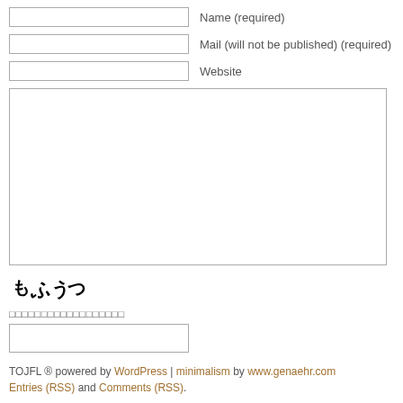Name (required)
Mail (will not be published) (required)
Website
[Figure (other): Comment text area input box]
[Figure (other): CAPTCHA image with Japanese characters もふうつ]
Submit Comment
CAPTCHA verification text in Japanese
[Figure (other): CAPTCHA text input box]
TOJFL ® powered by WordPress | minimalism by www.genaehr.com Entries (RSS) and Comments (RSS).